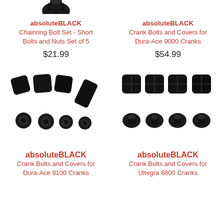[Figure (photo): Partial view of a black bicycle component (bolt/nut) at top-left of page, cropped]
absoluteBLACK
Chainring Bolt Set - Short Bolts and Nuts Set of 5
$21.99
absoluteBLACK
Crank Bolts and Covers for Dura-Ace 9000 Cranks
$54.99
[Figure (photo): Black crank bolts and covers set for Dura-Ace 9100 Cranks, multiple pieces scattered]
[Figure (photo): Black crank bolts and covers set for Ultegra 6800 Cranks, four covers and four bolts]
absoluteBLACK
Crank Bolts and Covers for Dura-Ace 9100 Cranks
absoluteBLACK
Crank Bolts and Covers for Ultegra 6800 Cranks